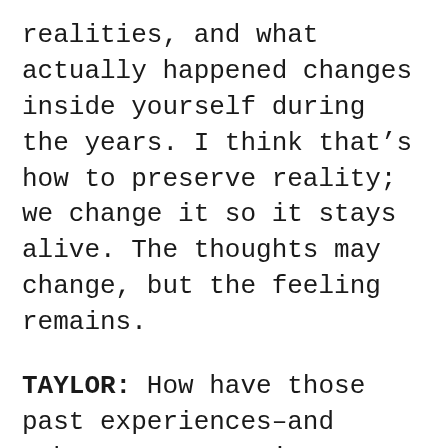realities, and what actually happened changes inside yourself during the years. I think that's how to preserve reality; we change it so it stays alive. The thoughts may change, but the feeling remains.
TAYLOR: How have those past experiences–and subsequent memories–shaped you? I recall reading that you visited North Korea in your 20s for a performance. Do you find parallels between shows in America and say, Pyongyang?